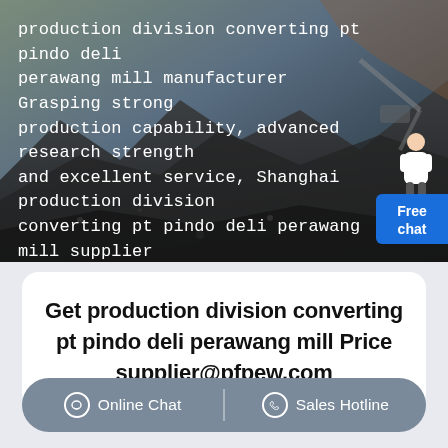[Figure (photo): Aerial view of a mining or quarry site with heavy machinery on dark rocky terrain. White overlay text describes production division converting pt pindo deli perawang mill. A 'Free chat' button appears in the bottom-right corner with a customer service figure.]
Get production division converting pt pindo deli perawang mill Price supplier@pfpew.com
Online Chat  |  Sales Hotline